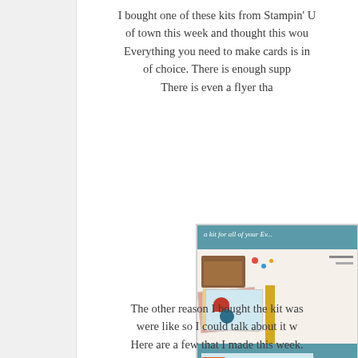I bought one of these kits from Stampin' Up! out of town this week and thought this would be perfect. Everything you need to make cards is included, ink of choice. There is enough supplies for 20 cards. There is even a flyer tha...
[Figure (photo): Photo of a Stampin' Up! card-making kit flyer showing card kits, envelopes, colorful paper cards fanned out, and product details on a teal-colored background]
The other reason I bought the kit was to see what they were like so I could talk about it with my customers. Here are a few that I made this week. and made my own 'tweeks' to it. You m...